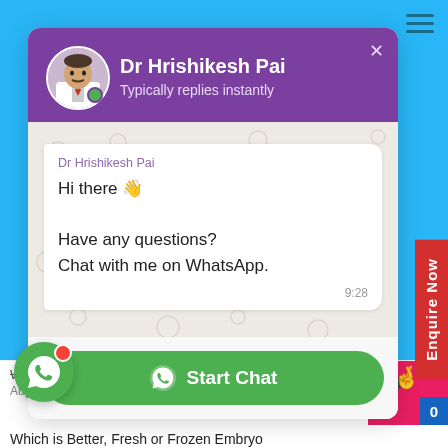[Figure (screenshot): WhatsApp-style chat popup widget for Dr Hrishikesh Pai showing purple header with doctor avatar, chat message, and Start Chat button]
Dr Hrishikesh Pai
Typically replies instantly
Dr Hrishikesh Pai
Hi there 👋

Have any questions?
Chat with me on WhatsApp.
9:28
Start Chat
Enquire Now
What is IVF — A Complete Guide
August 23, 2022
Which is Better, Fresh or Frozen Embryo